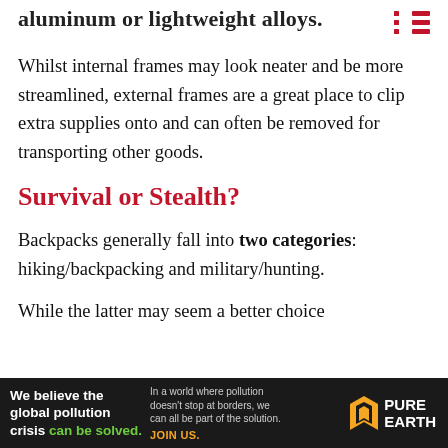aluminum or lightweight alloys.
Whilst internal frames may look neater and be more streamlined, external frames are a great place to clip extra supplies onto and can often be removed for transporting other goods.
Survival or Stealth?
Backpacks generally fall into two categories: hiking/backpacking and military/hunting.
While the latter may seem a better choice
[Figure (other): Advertisement banner for Pure Earth: 'We believe the global pollution crisis can be solved.' with Pure Earth logo]